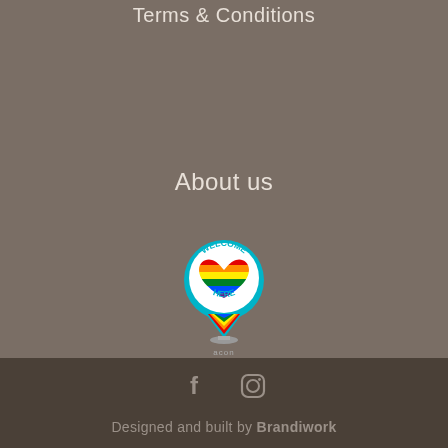Terms & Conditions
About us
[Figure (logo): ACON 'Welcome Here' rainbow heart location pin logo with text 'WELCOME HERE' and rainbow stripes]
Designed and built by Brandiwork